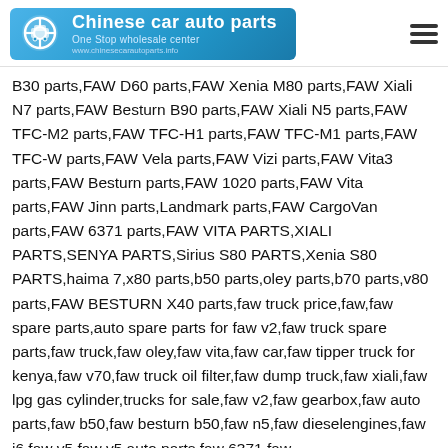Chinese car auto parts — One Stop wholesale center
B30 parts,FAW D60 parts,FAW Xenia M80 parts,FAW Xiali N7 parts,FAW Besturn B90 parts,FAW Xiali N5 parts,FAW TFC-M2 parts,FAW TFC-H1 parts,FAW TFC-M1 parts,FAW TFC-W parts,FAW Vela parts,FAW Vizi parts,FAW Vita3 parts,FAW Besturn parts,FAW 1020 parts,FAW Vita parts,FAW Jinn parts,Landmark parts,FAW CargoVan parts,FAW 6371 parts,FAW VITA PARTS,XIALI PARTS,SENYA PARTS,Sirius S80 PARTS,Xenia S80 PARTS,haima 7,x80 parts,b50 parts,oley parts,b70 parts,v80 parts,FAW BESTURN X40 parts,faw truck price,faw,faw spare parts,auto spare parts for faw v2,faw truck spare parts,faw truck,faw oley,faw vita,faw car,faw tipper truck for kenya,faw v70,faw truck oil filter,faw dump truck,faw xiali,faw lpg gas cylinder,trucks for sale,faw v2,faw gearbox,faw auto parts,faw b50,faw besturn b50,faw n5,faw dieselengines,faw j6,faw v5,faw v5 auto parts,faw 6371,faw